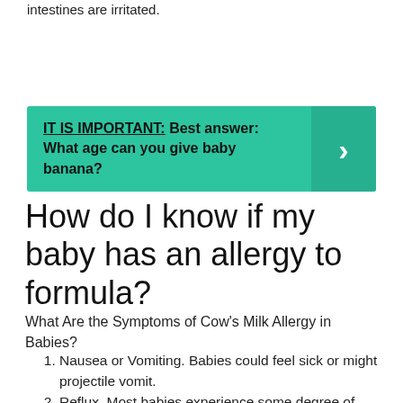Green mucousy stool is a sign that baby's intestines are irritated.
[Figure (infographic): Teal/green banner with bold text: IT IS IMPORTANT: Best answer: What age can you give baby banana? with a right-arrow chevron on the right side.]
How do I know if my baby has an allergy to formula?
What Are the Symptoms of Cow's Milk Allergy in Babies?
Nausea or Vomiting. Babies could feel sick or might projectile vomit.
Reflux. Most babies experience some degree of reflux (or spit-up). ...
Diarrhea. ...